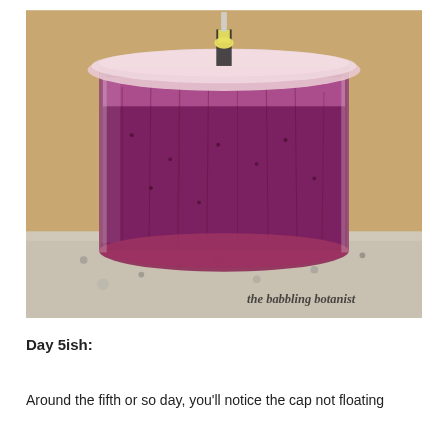[Figure (photo): A large clear plastic container filled with dark purple/burgundy fermented berry mixture, sitting on a granite countertop. The container has a translucent pink lid with a rubber stopper/airlock inserted in the center. The contents appear to be fermenting wine or mead. A watermark reads 'the babbling botanist' in the lower right corner.]
Day 5ish:
Around the fifth or so day, you'll notice the cap not floating